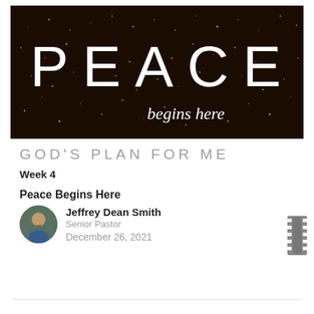[Figure (illustration): Dark background banner with golden glitter/sparkle effect. Large white text 'PEACE' in wide spaced letters, with italic white text 'begins here' in lower right.]
GOD'S PLAN FOR ME
Week 4
Peace Begins Here
Jeffrey Dean Smith
Senior Pastor
December 26, 2021